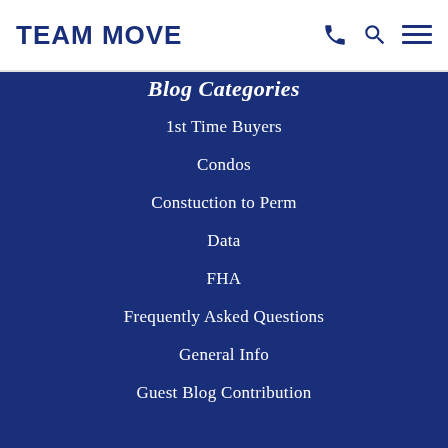TEAM MOVE
Blog Categories
1st Time Buyers
Condos
Constuction to Perm
Data
FHA
Frequently Asked Questions
General Info
Guest Blog Contribution